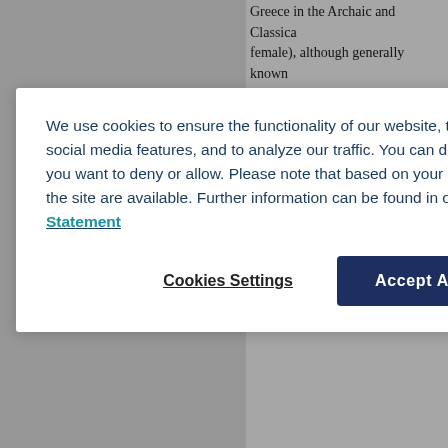Greece in the Archaic and Classical... female), although generally known
We use cookies to ensure the functionality of our website, to personalize content, to provide social media features, and to analyze our traffic. You can decide for yourself which categories you want to deny or allow. Please note that based on your settings not all functionalities of the site are available. Further information can be found in our privacy policy. Privacy Statement
Cookies Settings
Accept All Cookies
(1,794 words)
Author(s): Gordon, Richard L.; Martin (Bonn)
(the Roman sun god, Greek Ἥλιος, version] A. General summary Altho Indo-European deities of the panth High German sôl, Greek *σαελιος/ public cult of the sun played only a